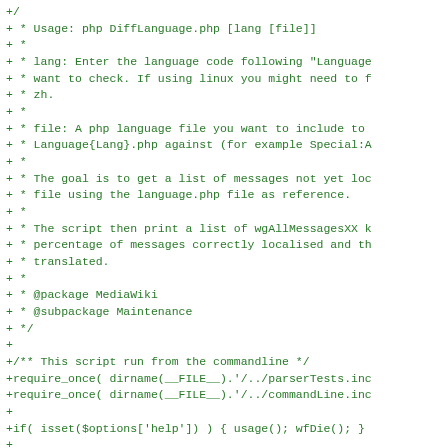Code diff showing PHP script content including usage comments, package annotations, and PHP code for DiffLanguage.php script